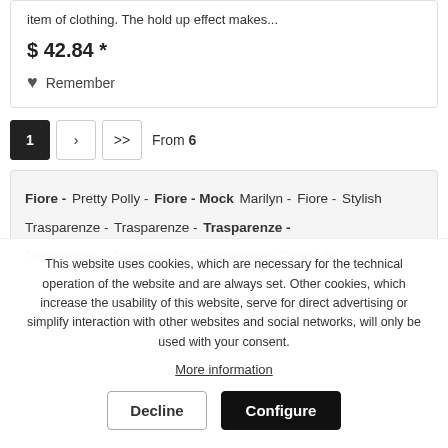item of clothing. The hold up effect makes...
$ 42.84 *
Remember
1  >  >>  From 6
Fiore - Pretty Polly - Fiore - Mock Marilyn - Fiore - Stylish Trasparenze - Trasparenze - Trasparenze - Trasparenze - Trasparenze - Trasparenze - Cecilia de
This website uses cookies, which are necessary for the technical operation of the website and are always set. Other cookies, which increase the usability of this website, serve for direct advertising or simplify interaction with other websites and social networks, will only be used with your consent. More information
Decline
Configure